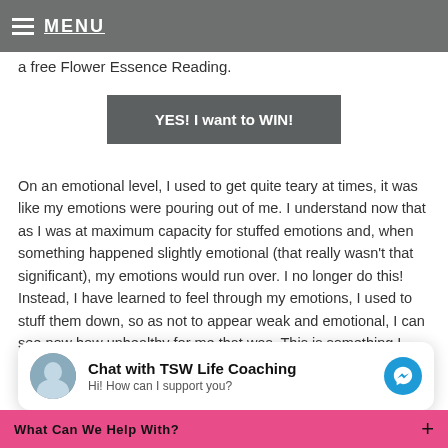MENU
a free Flower Essence Reading.
YES! I want to WIN!
On an emotional level, I used to get quite teary at times, it was like my emotions were pouring out of me. I understand now that as I was at maximum capacity for stuffed emotions and, when something happened slightly emotional (that really wasn't that significant), my emotions would run over. I no longer do this! Instead, I have learned to feel through my emotions, I used to stuff them down, so as not to appear weak and emotional, I can see now how unhealthy for me that was. This is something I think a lot of
Chat with TSW Life Coaching
Hi! How can I support you?
What Can We Help With?